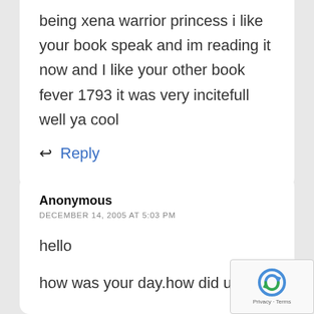being xena warrior princess i like your book speak and im reading it now and I like your other book fever 1793 it was very incitefull well ya cool
Reply
Anonymous
DECEMBER 14, 2005 AT 5:03 PM
hello
how was your day.how did u like